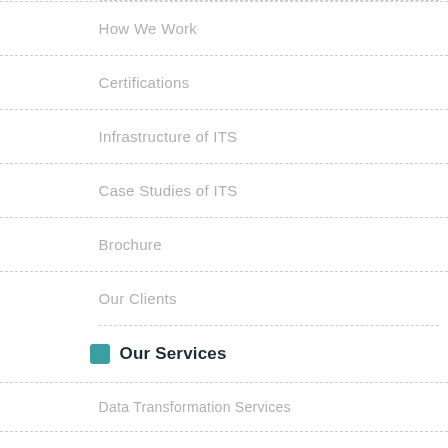How We Work
Certifications
Infrastructure of ITS
Case Studies of ITS
Brochure
Our Clients
Our Services
Data Transformation Services
CPG Digitization Services